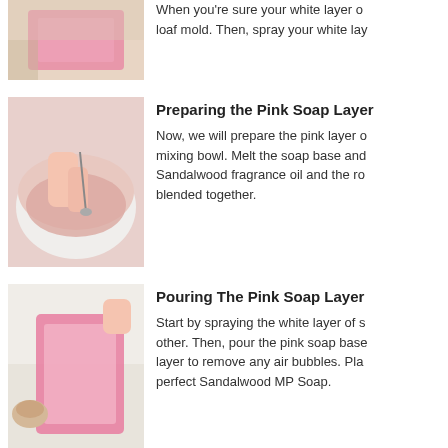[Figure (photo): Pink rectangular loaf mold being used]
When you're sure your white layer of loaf mold. Then, spray your white lay
Preparing the Pink Soap Layer
[Figure (photo): Hands mixing pink soap in a white bowl with a spoon]
Now, we will prepare the pink layer of mixing bowl. Melt the soap base and Sandalwood fragrance oil and the ro blended together.
Pouring The Pink Soap Layer
[Figure (photo): Pink rectangular loaf mold on white surface with small bowl of ingredients]
Start by spraying the white layer of s other. Then, pour the pink soap base layer to remove any air bubbles. Pla perfect Sandalwood MP Soap.
Preparing The Whipped C...